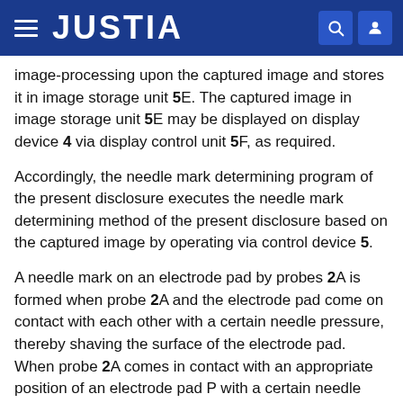JUSTIA
image-processing upon the captured image and stores it in image storage unit 5E. The captured image in image storage unit 5E may be displayed on display device 4 via display control unit 5F, as required.
Accordingly, the needle mark determining program of the present disclosure executes the needle mark determining method of the present disclosure based on the captured image by operating via control device 5.
A needle mark on an electrode pad by probes 2A is formed when probe 2A and the electrode pad come on contact with each other with a certain needle pressure, thereby shaving the surface of the electrode pad. When probe 2A comes in contact with an appropriate position of an electrode pad P with a certain needle pressure, a certain size of a needle mark 2P1 is formed within the outline of the surface of electrode pad P, as shown in